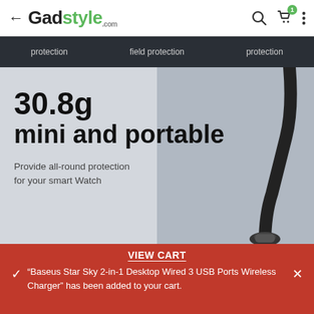← Gadstyle.com
protection   field protection   protection
[Figure (photo): Product promotional image showing a smart watch charger cable on a two-tone grey background. Large bold text reads '30.8g mini and portable' with subtitle 'Provide all-round protection for your smart Watch'.]
VIEW CART
"Baseus Star Sky 2-in-1 Desktop Wired 3 USB Ports Wireless Charger" has been added to your cart.